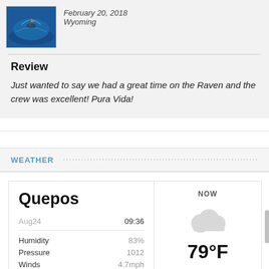[Figure (photo): Photo of fishing boat on blue water]
February 20, 2018
Wyoming
Review
Just wanted to say we had a great time on the Raven and the crew was excellent! Pura Vida!
WEATHER
|  |  |
| --- | --- |
| Quepos | NOW |
| Aug24 | 09:36 |
| Humidity | 83% |
| Pressure | 1012 |
| Winds | 4.7mph |
79°F